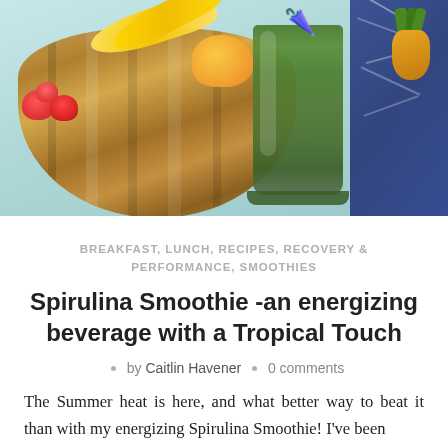[Figure (photo): A green spirulina smoothie in a tall glass with a tropical paper umbrella, set on a light blue table next to a wooden bowl filled with tropical fruits including bananas, strawberries, and mango, with a dark blue decorative object and pineapple in the background.]
BREAKFAST, LUNCH, RECIPES, RECOVERY & PERFORMANCE, SMOOTHIES
Spirulina Smoothie -an energizing beverage with a Tropical Touch
· by Caitlin Havener · 0 comments
The Summer heat is here, and what better way to beat it than with my energizing Spirulina Smoothie! I've been